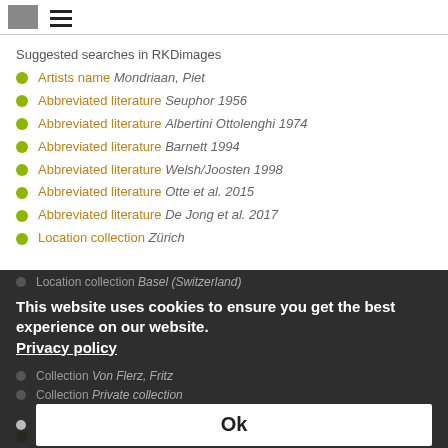Suggested searches in RKDimages
Artists name Mondriaan, Piet
Abbreviated literature Seuphor 1956
Abbreviated literature Albertini Ottolenghi 1974
Abbreviated literature Barnett 1994
Abbreviated literature Welsh/Joosten 1998
Abbreviated literature Otte et al. 2015
Abbreviated literature De Jong et al. 2017
Location collection Zürich
Location collection Basel (Switzerland)
This website uses cookies to ensure you get the best experience on our website. Privacy policy
Collection Von Flerz, Fritz
Collection Private collection
Collection Galerie Beyeler Ok
Collection Tate Gallery
genre undetermined